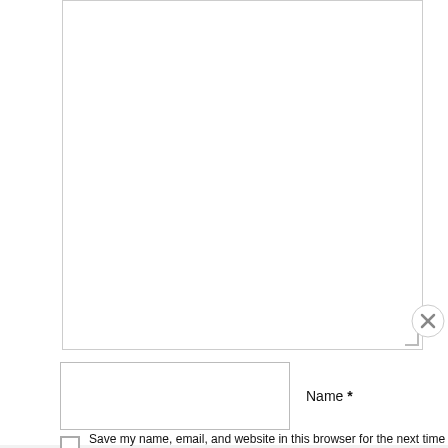[Figure (screenshot): Comment textarea input box with resize handle at bottom right]
Name *
Email *
Website
Save my name, email, and website in this browser for the next time I
Advertisements
[Figure (logo): WordPress VIP logo with circle W icon and 'vip' text]
[Figure (infographic): Colorful gradient advertisement banner with 'Learn more →' dark pill button]